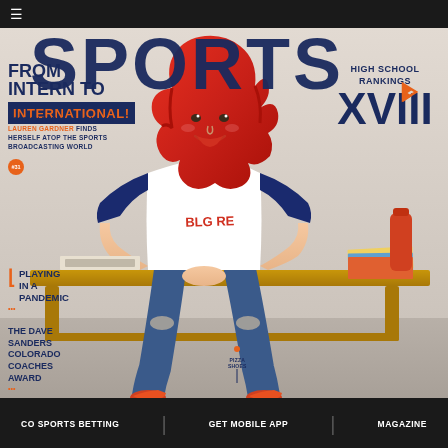≡ SPORTS
SPORTS
[Figure (photo): Magazine cover featuring a young woman with red hair wearing a navy and white baseball tee and ripped jeans sitting on a wooden bench, with school books and an orange water bottle beside her, wearing orange/red patterned sneakers]
FROM INTERN TO INTERNATIONAL!
NORTHCLENN HIGH SCHOOL'S LAUREN GARDNER FINDS HERSELF ATOP THE SPORTS BROADCASTING WORLD
HIGH SCHOOL RANKINGS XVIII
PLAYING IN A PANDEMIC •••
THE DAVE SANDERS COLORADO COACHES AWARD •••
PIZZA SHOES
CO SPORTS BETTING   GET MOBILE APP   MAGAZINE